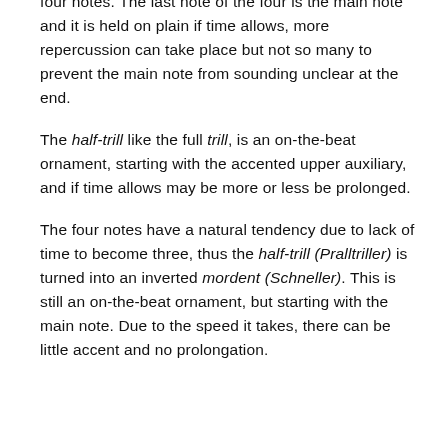four notes. The last note of the four is the main note and it is held on plain if time allows, more repercussion can take place but not so many to prevent the main note from sounding unclear at the end.
The half-trill like the full trill, is an on-the-beat ornament, starting with the accented upper auxiliary, and if time allows may be more or less be prolonged.
The four notes have a natural tendency due to lack of time to become three, thus the half-trill (Pralltriller) is turned into an inverted mordent (Schneller). This is still an on-the-beat ornament, but starting with the main note. Due to the speed it takes, there can be little accent and no prolongation.